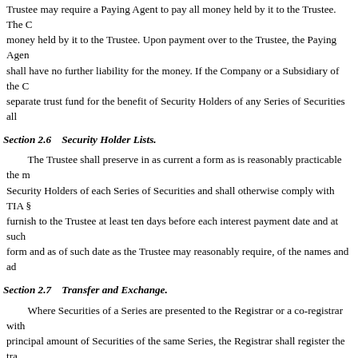Trustee may require a Paying Agent to pay all money held by it to the Trustee. The C money held by it to the Trustee. Upon payment over to the Trustee, the Paying Agen shall have no further liability for the money. If the Company or a Subsidiary of the C separate trust fund for the benefit of Security Holders of any Series of Securities all
Section 2.6    Security Holder Lists.
The Trustee shall preserve in as current a form as is reasonably practicable the m Security Holders of each Series of Securities and shall otherwise comply with TIA § furnish to the Trustee at least ten days before each interest payment date and at such form and as of such date as the Trustee may reasonably require, of the names and ad
Section 2.7    Transfer and Exchange.
Where Securities of a Series are presented to the Registrar or a co-registrar with principal amount of Securities of the same Series, the Registrar shall register the tra transactions are met. To permit registrations of transfers and exchanges, the Trustee No service charge shall be made for any registration of transfer or exchange (except require payment of a sum sufficient to cover any transfer tax or similar governmenta transfer tax or similar governmental charge payable upon exchanges pursuant to Sec
Neither the Company nor the Registrar shall be required (a) to issue, register the beginning at the opening of business fifteen days immediately preceding the mailing for redemption and ending at the close of business on the day of such mailing, or (b) Series selected, called or being called for redemption as a whole or the portion being called for redemption in part.
Section 2.8    Mutilated, Destroyed, Lost and Stolen Securities.